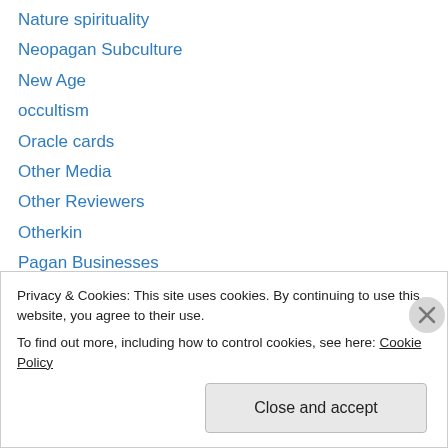Nature spirituality
Neopagan Subculture
New Age
occultism
Oracle cards
Other Media
Other Reviewers
Otherkin
Pagan Businesses
Pagan Products
Paleopagan Cultures
Philosophy
Plants
Privacy & Cookies: This site uses cookies. By continuing to use this website, you agree to their use.
To find out more, including how to control cookies, see here: Cookie Policy
Close and accept